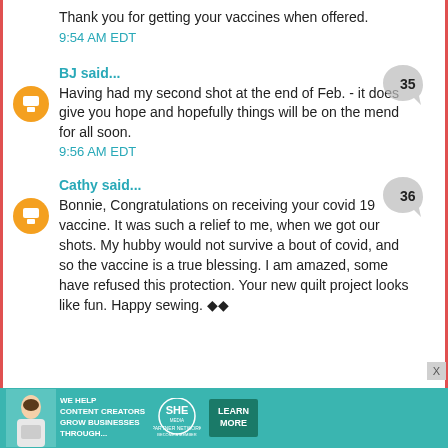Thank you for getting your vaccines when offered.
9:54 AM EDT
BJ said...
Having had my second shot at the end of Feb. - it does give you hope and hopefully things will be on the mend for all soon.
9:56 AM EDT
Cathy said...
Bonnie, Congratulations on receiving your covid 19 vaccine. It was such a relief to me, when we got our shots. My hubby would not survive a bout of covid, and so the vaccine is a true blessing. I am amazed, some have refused this protection. Your new quilt project looks like fun. Happy sewing. ◆◆
[Figure (infographic): SHE Partner Network advertisement banner: WE HELP CONTENT CREATORS GROW BUSINESSES THROUGH... with LEARN MORE button]